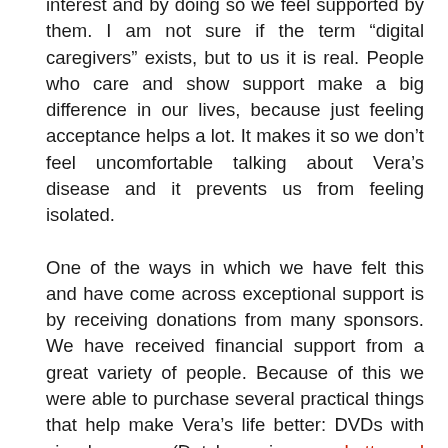interest and by doing so we feel supported by them. I am not sure if the term “digital caregivers” exists, but to us it is real. People who care and show support make a big difference in our lives, because just feeling acceptance helps a lot. It makes it so we don’t feel uncomfortable talking about Vera’s disease and it prevents us from feeling isolated.

One of the ways in which we have felt this and have come across exceptional support is by receiving donations from many sponsors. We have received financial support from a great variety of people. Because of this we were able to purchase several practical things that help make Vera’s life better: DVDs with sign language (Dutch version, see Lotte and Max) so she can communicate better (we will tell you more about this later!), a PT/play mat that’s easy to clean, a slow juicer to prep vegetables for her tube feedings, an extra small walker, a winter leg warmer/cover for the custom stroller, financing medication that is not covered by insurance and covering expenses that come with the many hospitalizations.